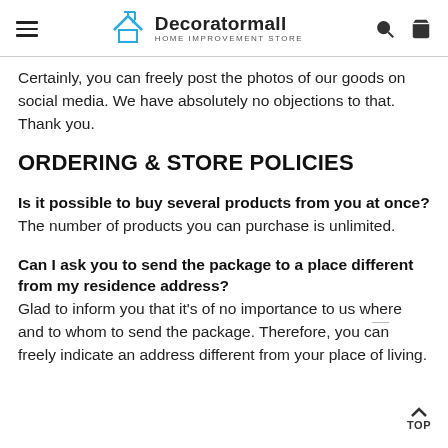Decoratormall HOME IMPROVEMENT STORE
Certainly, you can freely post the photos of our goods on social media. We have absolutely no objections to that. Thank you.
ORDERING & STORE POLICIES
Is it possible to buy several products from you at once?
The number of products you can purchase is unlimited.
Can I ask you to send the package to a place different from my residence address?
Glad to inform you that it’s of no importance to us where and to whom to send the package. Therefore, you can freely indicate an address different from your place of living.